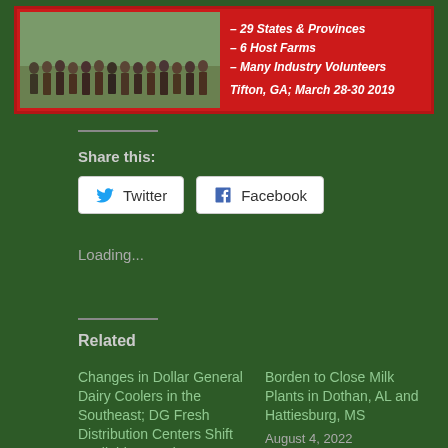[Figure (photo): Group photo of people standing outdoors on grass with text overlay listing: 29 States & Provinces, 6 Host Farms, Many Industry Volunteers, Tifton, GA; March 28-30 2019 on a red banner background]
Share this:
Twitter
Facebook
Loading...
Related
Changes in Dollar General Dairy Coolers in the Southeast; DG Fresh Distribution Centers Shift Available Brands
June 19, 2020
Borden to Close Milk Plants in Dothan, AL and Hattiesburg, MS
August 4, 2022
In "North American Milkshed"